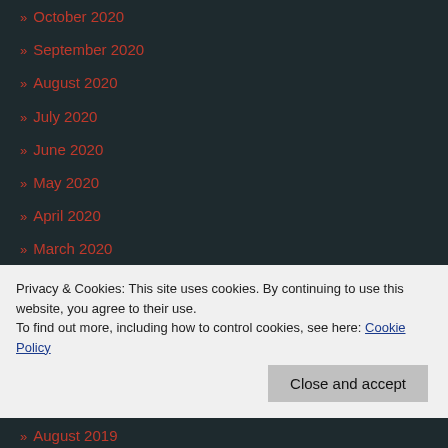» October 2020
» September 2020
» August 2020
» July 2020
» June 2020
» May 2020
» April 2020
» March 2020
» February 2020
» January 2020
» December 2019
Privacy & Cookies: This site uses cookies. By continuing to use this website, you agree to their use.
To find out more, including how to control cookies, see here: Cookie Policy
» August 2019